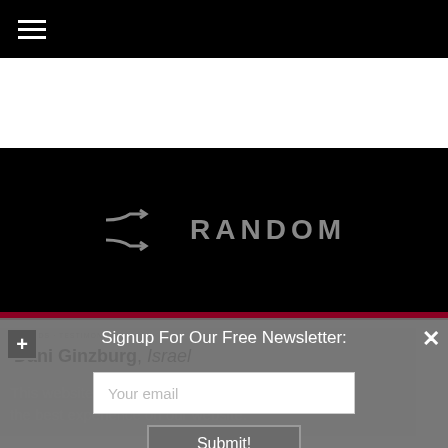≡ (hamburger menu icon)
[Figure (screenshot): Black section with shuffle/random icon and RANDOM text in gray]
Dani Ginzburg, Israel
This website uses cookies to ensure you get the best experience on our website.
Signup For Our Free Newsletter:
Your email
Submit!